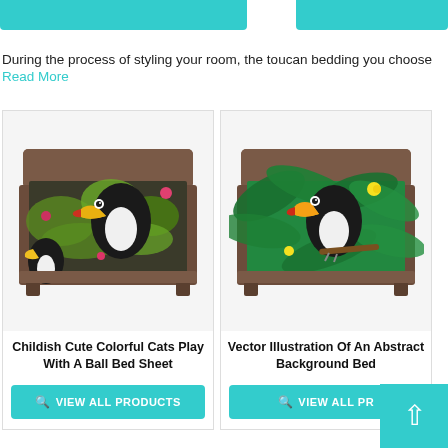[Figure (screenshot): Partial top teal/cyan buttons from previous product cards]
During the process of styling your room, the toucan bedding you choose
Read More
[Figure (photo): Bed with dark background tropical toucan and leaves bedsheet - Childish Cute Colorful Cats Play With A Ball Bed Sheet]
Childish Cute Colorful Cats Play With A Ball Bed Sheet
VIEW ALL PRODUCTS
[Figure (photo): Bed with green tropical toucan and palm leaves bedsheet - Vector Illustration Of An Abstract Background Bed]
Vector Illustration Of An Abstract Background Bed
VIEW ALL PRO